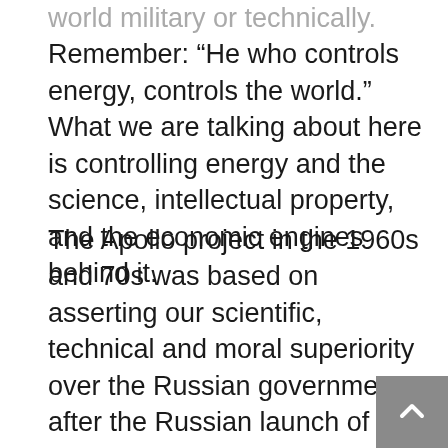Remember: “He who controls energy, controls the world.” What we are talking about here is controlling energy and the science, intellectual property, and the economic engines behind it.
The Apollo project in the 1960s and 70s was based on asserting our scientific, technical and moral superiority over the Russian government after the Russian launch of their sputnik satellite. At the time it was a noble ambition. An ambition which directly resulted in a myriad of new technologies; everything from the microwave oven to the solid state electronics used inside today’s